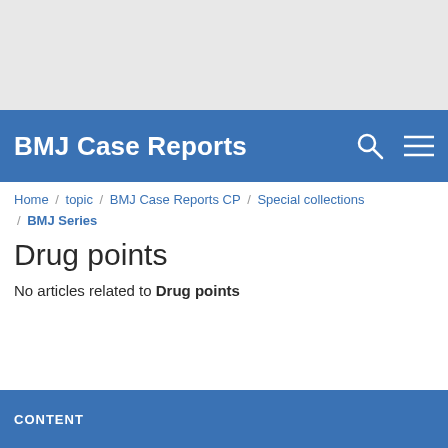[Figure (screenshot): Grey top banner area]
BMJ Case Reports
Home / topic / BMJ Case Reports CP / Special collections / BMJ Series
Drug points
No articles related to Drug points
CONTENT